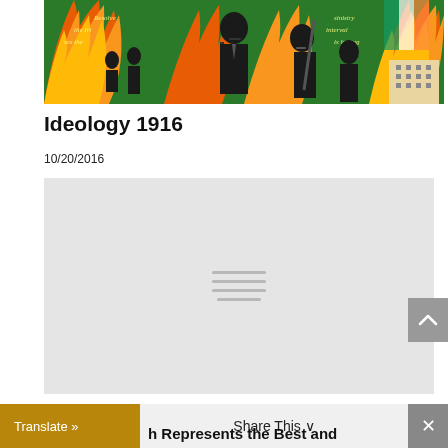[Figure (illustration): Colorful illustrated poster depicting 1916 Irish uprising figures standing in front of flames and text, with several men in dark clothing holding objects, green and orange colors predominating]
Ideology 1916
10/20/2016
[Figure (other): Gray placeholder box for embedded video with a hamburger/loading icon in the center consisting of four horizontal gray lines]
Translate »
Share This
h Represents the Best and